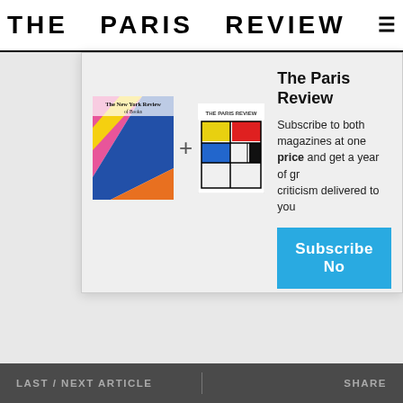THE PARIS REVIEW
[Figure (photo): The Paris Review Issue 67 magazine cover showing large orange/red letters RADIO on a cream background]
[Figure (photo): Subscription modal with two magazine covers (The New York Review of Books colorful abstract cover and The Paris Review colored grid cover) with a plus sign between them]
The Paris Review
Subscribe to both magazines at one price and get a year of great criticism delivered to you
Subscribe Now
LAST / NEXT ARTICLE     SHARE